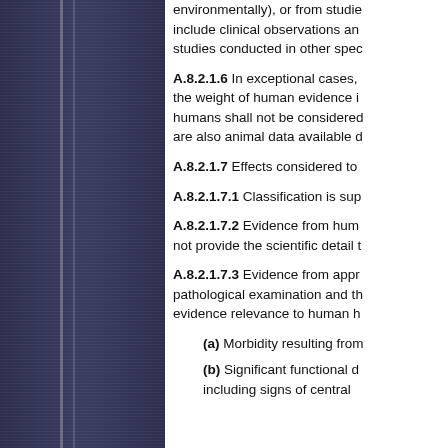environmentally), or from studies that include clinical observations and studies conducted in other species.
A.8.2.1.6 In exceptional cases, the weight of human evidence is humans shall not be considered are also animal data available d
A.8.2.1.7 Effects considered to
A.8.2.1.7.1 Classification is sup
A.8.2.1.7.2 Evidence from hum not provide the scientific detail t
A.8.2.1.7.3 Evidence from appr pathological examination and th evidence relevance to human h
(a) Morbidity resulting from
(b) Significant functional d including signs of central